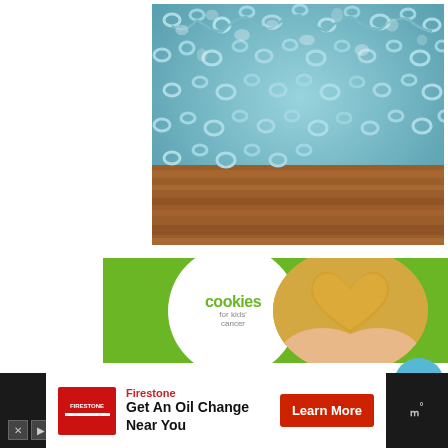[Figure (photo): Close-up photo of teal/turquoise crochet lace fabric laid on a wooden surface, cropped in the upper right portion of the page]
[Figure (photo): Advertisement banner for 'cookies for kids cancer' charity showing a white circle logo with text 'cookies for kids cancer', a circular photo of hands holding a heart-shaped golden cookie, and green background with white text 'your th...' (truncated)]
[Figure (infographic): Social interaction buttons on right side: a teal heart/like button, a count showing '1', and a share button]
[Figure (screenshot): Advertisement bar at bottom: Firestone ad reading 'Get An Oil Change Near You' with a red Learn More button, on dark background with ad controls (X and play buttons) and a brand logo on right]